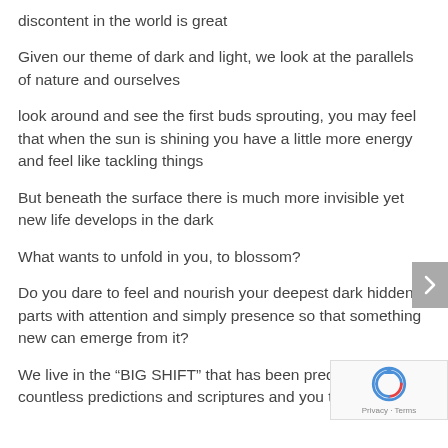discontent in the world is great
Given our theme of dark and light, we look at the parallels of nature and ourselves
look around and see the first buds sprouting, you may feel that when the sun is shining you have a little more energy and feel like tackling things
But beneath the surface there is much more invisible yet new life develops in the dark
What wants to unfold in you, to blossom?
Do you dare to feel and nourish your deepest dark hidden parts with attention and simply presence so that something new can emerge from it?
We live in the “BIG SHIFT” that has been predicted countless predictions and scriptures and you too have